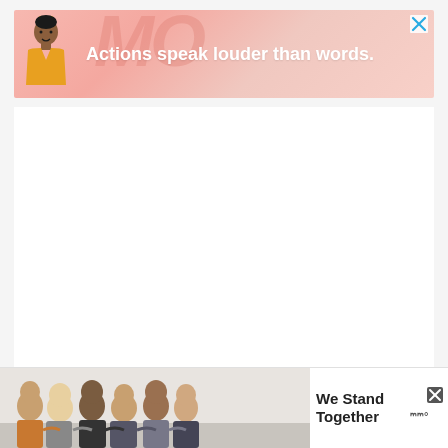ADVERTISEMENT
[Figure (illustration): Pink banner advertisement with a stylized figure of a person in a yellow jacket on the left, large decorative text in the background, and white bold text reading 'Actions speak louder than words.' with a close/X button in the top right corner.]
[Figure (photo): Bottom banner advertisement showing a group of people with arms around each other viewed from behind, with bold text reading 'We Stand Together' and a close button and logo in the right area.]